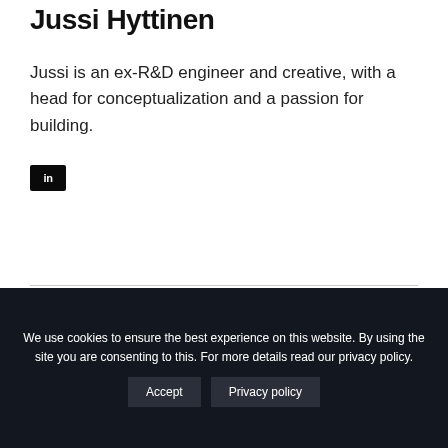Jussi Hyttinen
Jussi is an ex-R&D engineer and creative, with a head for conceptualization and a passion for building.
[Figure (logo): LinkedIn icon — white 'in' text on dark square background]
We use cookies to ensure the best experience on this website. By using the site you are consenting to this. For more details read our privacy policy. Accept  Privacy policy